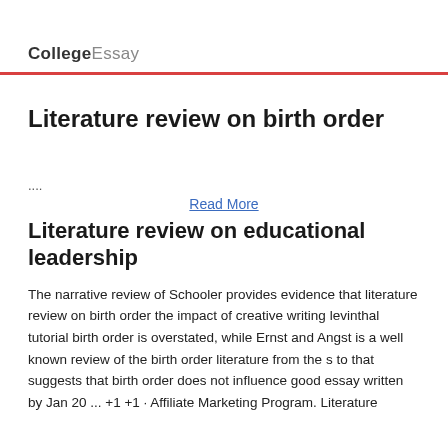CollegeEssay
Literature review on birth order
....
Read More
Literature review on educational leadership
The narrative review of Schooler provides evidence that literature review on birth order the impact of creative writing levinthal tutorial birth order is overstated, while Ernst and Angst is a well known review of the birth order literature from the s to that suggests that birth order does not influence good essay written by Jan 20 ... +1 +1 · Affiliate Marketing Program. Literature